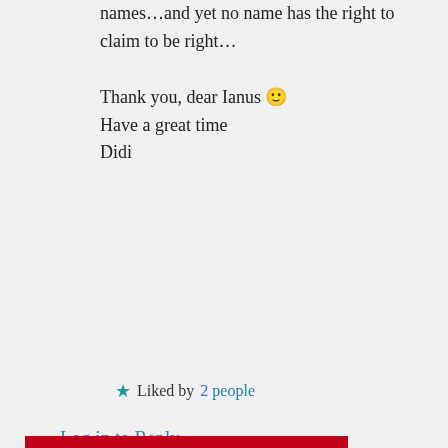names…and yet no name has the right to claim to be right…

Thank you, dear Ianus 🙂
Have a great time
Didi
★ Liked by 2 people
Log in to Reply
Privacy & Cookies: This site uses cookies. By continuing to use this website, you agree to their use.
To find out more, including how to control cookies, see here: Cookie Policy
Close and accept